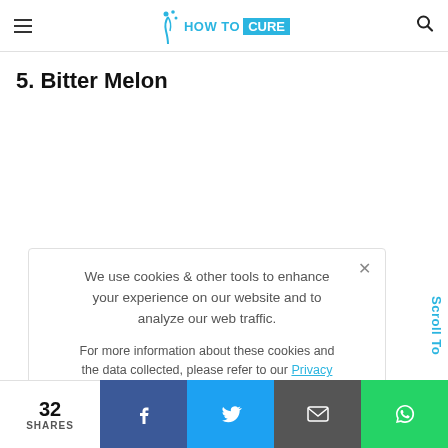HOW TO CURE
5. Bitter Melon
We use cookies & other tools to enhance your experience on our website and to analyze our web traffic.

For more information about these cookies and the data collected, please refer to our Privacy Policy.
I ACCEPT USE OF COOKIES
Scroll To
32 SHARES